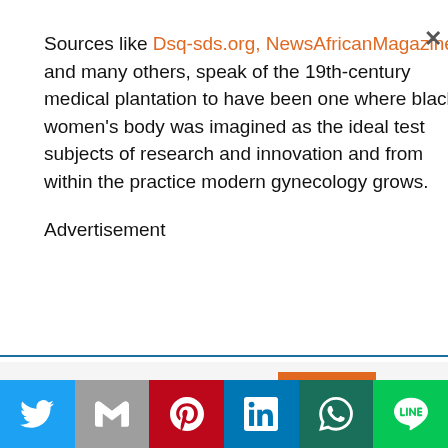Sources like Dsq-sds.org, NewsAfricanMagazine, and many others, speak of the 19th-century medical plantation to have been one where black women's body was imagined as the ideal test subjects of research and innovation and from within the practice modern gynecology grows.
Advertisement
This website uses cookies.